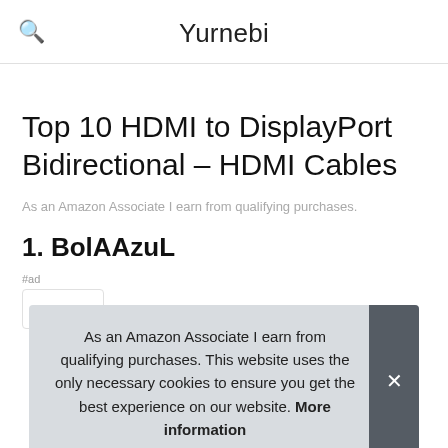Yurnebi
Top 10 HDMI to DisplayPort Bidirectional – HDMI Cables
As an Amazon Associate I earn from qualifying purchases.
1. BolAAzuL
As an Amazon Associate I earn from qualifying purchases. This website uses the only necessary cookies to ensure you get the best experience on our website. More information